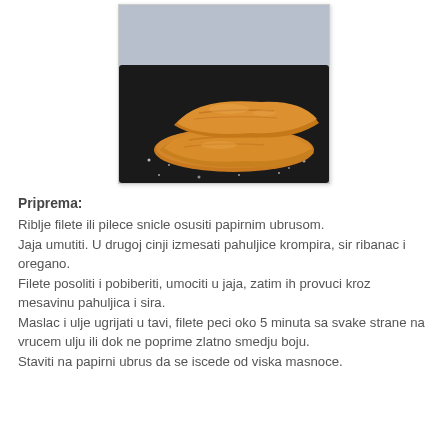[Figure (photo): Fried breaded fish or chicken fillets on a dark tray with salt/seasoning]
Priprema:
Riblje filete ili pilece snicle osusiti papirnim ubrusom.
Jaja umutiti. U drugoj cinji izmesati pahuljice krompira, sir ribanac i oregano.
Filete posoliti i pobiberiti, umociti u jaja, zatim ih provuci kroz mesavinu pahuljica i sira.
Maslac i ulje ugrijati u tavi, filete peci oko 5 minuta sa svake strane na vrucem ulju ili dok ne poprime zlatno smedju boju.
Staviti na papirni ubrus da se iscede od viska masnoce.